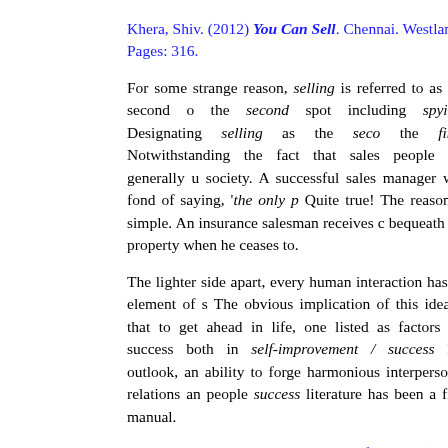Khera, Shiv. (2012) You Can Sell. Chennai. Westland. Pages: 316.
For some strange reason, selling is referred to as the second o the second spot including spying. Designating selling as the seco the first. Notwithstanding the fact that sales people are generally u society. A successful sales manager was fond of saying, ‘the only p Quite true! The reason is simple. An insurance salesman receives c bequeath his property when he ceases to.
The lighter side apart, every human interaction has an element of s The obvious implication of this idea is that to get ahead in life, one listed as factors for success both in self-improvement / success lite outlook, an ability to forge harmonious interpersonal relations an people success literature has been a first manual.
Napoleon Hill’s 16-lesson The Law of Success (1928) was one of t Carnegie’s How to win friends and influence people (1936). Since th recent years being Stephen Covey’s Seven Habits of Highly Suc Thinking (1952) and Robert Schuller’s Tough Times Never Last Parkinson & Rustomji’s Business is People, Walter Veira’s bo Salesman and Spencer Johnson’s The OneMinute Sales Person books on the subject. There are hundreds of others, including bi covered every aspect of selling skills.
Therefore there is not much new ground left for Shiv Khera to cover together a comprehensive manual for sales people which covers th